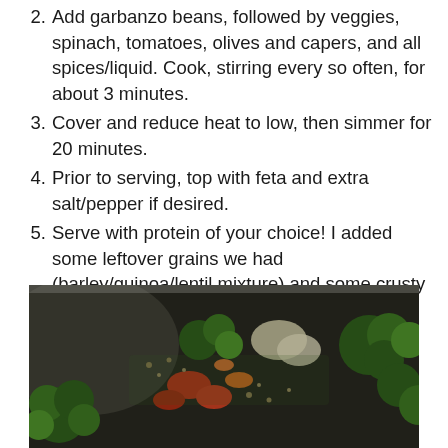2. Add garbanzo beans, followed by veggies, spinach, tomatoes, olives and capers, and all spices/liquid. Cook, stirring every so often, for about 3 minutes.
3. Cover and reduce heat to low, then simmer for 20 minutes.
4. Prior to serving, top with feta and extra salt/pepper if desired.
5. Serve with protein of your choice! I added some leftover grains we had (barley/quinoa/lentil mixture) and some crusty crackers.
[Figure (photo): Close-up photo of a cooked vegetable dish with broccoli, tomatoes, grains, and herbs in a pan or bowl]